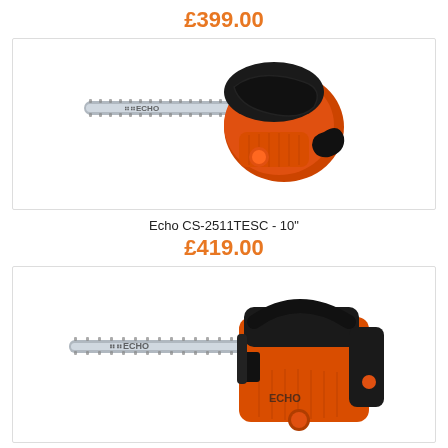£399.00
[Figure (photo): Echo chainsaw CS-2511TESC top-handle chainsaw with orange and black body, viewed from above at an angle, with guide bar extending to the left]
Echo CS-2511TESC - 10"
£419.00
[Figure (photo): Echo chainsaw top-handle model with orange and black body, viewed from the side, with guide bar extending to the left]